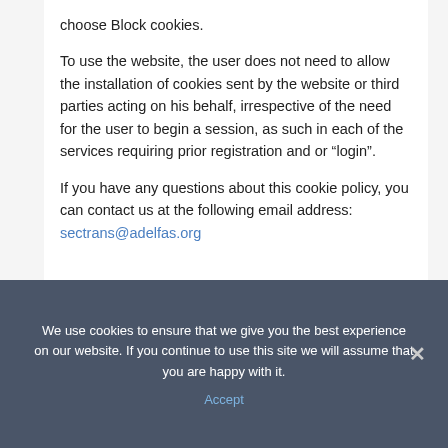choose Block cookies.
To use the website, the user does not need to allow the installation of cookies sent by the website or third parties acting on his behalf, irrespective of the need for the user to begin a session, as such in each of the services requiring prior registration and or “login”.
If you have any questions about this cookie policy, you can contact us at the following email address:
sectrans@adelfas.org
We use cookies to ensure that we give you the best experience on our website. If you continue to use this site we will assume that you are happy with it.
Accept